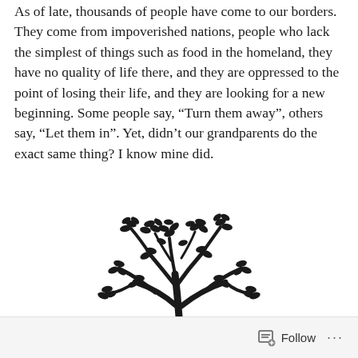As of late, thousands of people have come to our borders. They come from impoverished nations, people who lack the simplest of things such as food in the homeland, they have no quality of life there, and they are oppressed to the point of losing their life, and they are looking for a new beginning. Some people say, “Turn them away”, others say, “Let them in”. Yet, didn’t our grandparents do the exact same thing? I know mine did.
[Figure (illustration): Black silhouette illustration of a large deciduous tree with spreading branches and many leaves, centered on the page.]
Follow ···